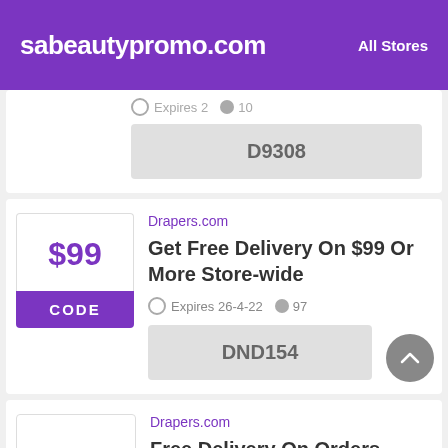sabeautypromo.com  All Stores
D9308
Drapers.com
Get Free Delivery On $99 Or More Store-wide
Expires 26-4-22  97
DND154
Drapers.com
Free Delivery On Orders $125+